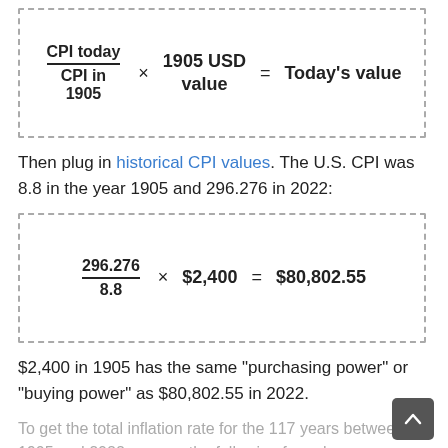Then plug in historical CPI values. The U.S. CPI was 8.8 in the year 1905 and 296.276 in 2022:
$2,400 in 1905 has the same "purchasing power" or "buying power" as $80,802.55 in 2022.
To get the total inflation rate for the 117 years between 1905 and 2022, we use the following formula: